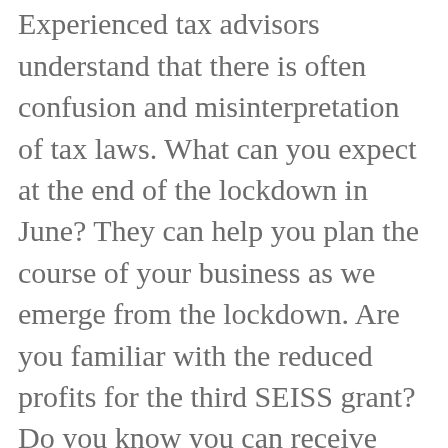your business or company? Experienced tax advisors understand that there is often confusion and misinterpretation of tax laws. What can you expect at the end of the lockdown in June? They can help you plan the course of your business as we emerge from the lockdown. Are you familiar with the reduced profits for the third SEISS grant? Do you know you can receive HMRC support if you are late paying the self-assessment tax? Are you aware of your options with deferred late VAT payments? There are accountants near Epsom and accountants near Cobham who can